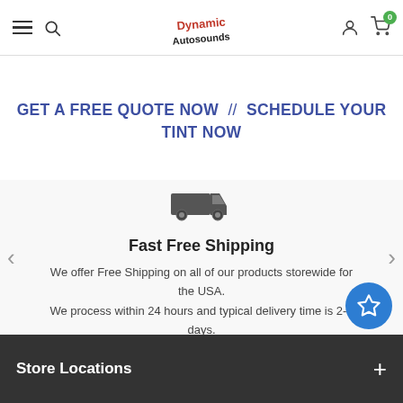Dynamic Autosounds navigation bar with hamburger menu, search, logo, account, and cart icons
GET A FREE QUOTE NOW // SCHEDULE YOUR TINT NOW
[Figure (illustration): Delivery truck icon (dark grey)]
Fast Free Shipping
We offer Free Shipping on all of our products storewide for the USA. We process within 24 hours and typical delivery time is 2-3 days.
Store Locations +